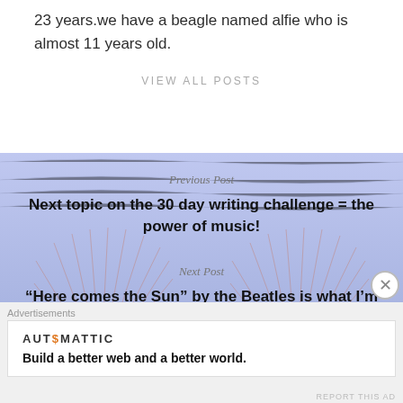23 years.we have a beagle named alfie who is almost 11 years old.
VIEW ALL POSTS
Previous Post
Next topic on the 30 day writing challenge = the power of music!
Next Post
“Here comes the Sun” by the Beatles is what I’m
Advertisements
AUTOMATTIC
Build a better web and a better world.